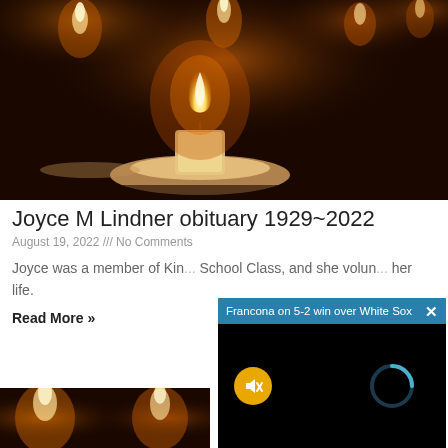[Figure (photo): Close-up photograph of several lit tealight candles with warm orange glow against a dark background]
Joyce M Lindner obituary 1929~2022
August 19, 2022 /// No Comments
Joyce was a member of Kin... School Class, and she volun... her life.
Read More »
[Figure (screenshot): Video popup overlay with dark background showing 'Francona on 5-2 win over White Sox' title bar in blue, a muted speaker icon in yellow circle, and a loading spinner arc in blue-teal]
[Figure (photo): Partial photograph of lit candles at the bottom left, same warm candle style as top image]